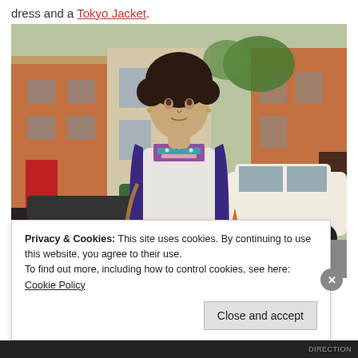dress and a Tokyo Jacket.
[Figure (photo): A woman with curly dark hair standing on a city street wearing a white embroidered dress and a dark blue/purple cardigan jacket, carrying a tan shoulder bag. Urban street scene with brick buildings, parked cars including a white SUV, and green trees in the background.]
Privacy & Cookies: This site uses cookies. By continuing to use this website, you agree to their use.
To find out more, including how to control cookies, see here: Cookie Policy
Close and accept